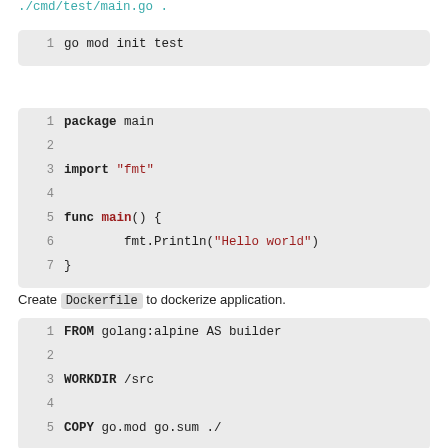./cmd/test/main.go .
go mod init test
package main

import "fmt"

func main() {
    fmt.Println("Hello world")
}
Create Dockerfile to dockerize application.
FROM golang:alpine AS builder

WORKDIR /src

COPY go.mod go.sum ./